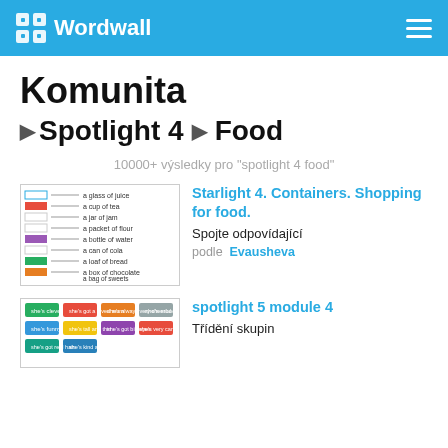Wordwall
Komunita
Spotlight 4 › Food
10000+ výsledky pro "spotlight 4 food"
[Figure (screenshot): Thumbnail of a match activity showing food container phrases like 'a glass of juice', 'a cup of tea', etc.]
Starlight 4. Containers. Shopping for food.
Spojte odpovídající
podле Evausheva
[Figure (screenshot): Thumbnail of a group sorting activity with colored category cards]
spotlight 5 module 4
Třídění skupin